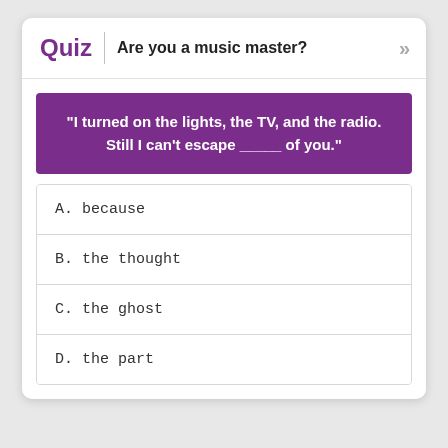Quiz | Are you a music master?
"I turned on the lights, the TV, and the radio. Still I can't escape _____ of you."
A. because
B. the thought
C. the ghost
D. the part